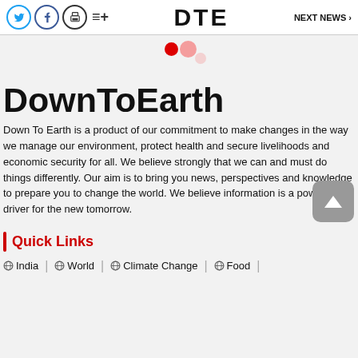DTE | NEXT NEWS
DownToEarth
Down To Earth is a product of our commitment to make changes in the way we manage our environment, protect health and secure livelihoods and economic security for all. We believe strongly that we can and must do things differently. Our aim is to bring you news, perspectives and knowledge to prepare you to change the world. We believe information is a powerful driver for the new tomorrow.
Quick Links
India
World
Climate Change
Food